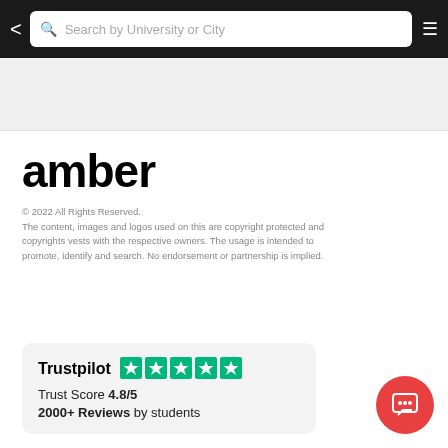Search by University or City
[Figure (logo): amber logo in bold black text]
© 2022 All Rights Reserved.
The content, images and logos used on this are copyright protected and copyrights vests with the respective owners. The usage is intended to promote, identify and search. No endorsement or partnership is implied.
[Figure (infographic): Trustpilot rating card showing 5 green stars, Trust Score 4.8/5, 2000+ Reviews by students]